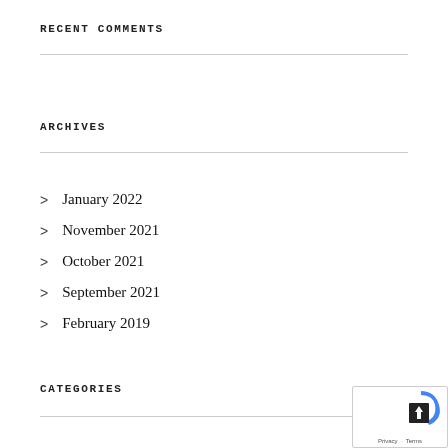RECENT COMMENTS
ARCHIVES
January 2022
November 2021
October 2021
September 2021
February 2019
CATEGORIES